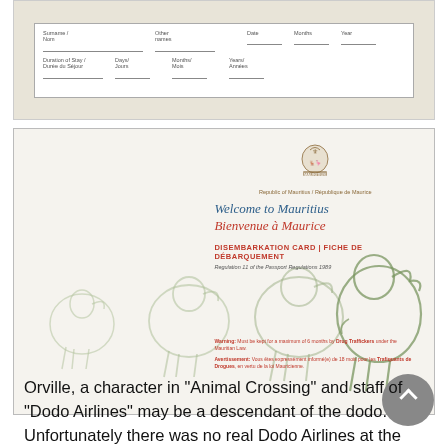[Figure (photo): Photo of a form or disembarkation card document, partially visible at top of page, showing form fields with labels in two languages]
[Figure (photo): Photo of Mauritius Disembarkation Card / Fiche de Débarquement featuring 'Welcome to Mauritius / Bienvenue à Maurice' heading, Republic of Mauritius coat of arms, and watermark illustrations of dodo birds]
Orville, a character in "Animal Crossing" and staff of "Dodo Airlines" may be a descendant of the dodo. Unfortunately there was no real Dodo Airlines at the